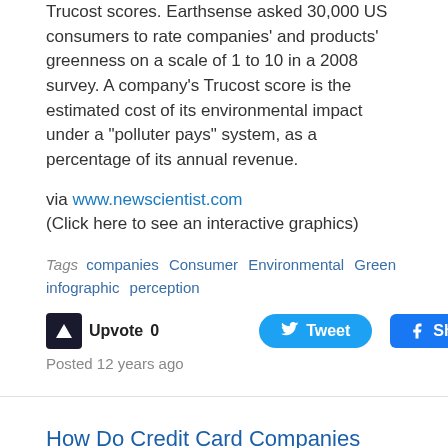Trucost scores. Earthsense asked 30,000 US consumers to rate companies' and products' greenness on a scale of 1 to 10 in a 2008 survey. A company's Trucost score is the estimated cost of its environmental impact under a "polluter pays" system, as a percentage of its annual revenue.
via www.newscientist.com
(Click here to see an interactive graphics)
Tags  companies  Consumer  Environmental  Green  infographic  perception
Upvote 0   Tweet   Share 0
Posted 12 years ago
How Do Credit Card Companies Make